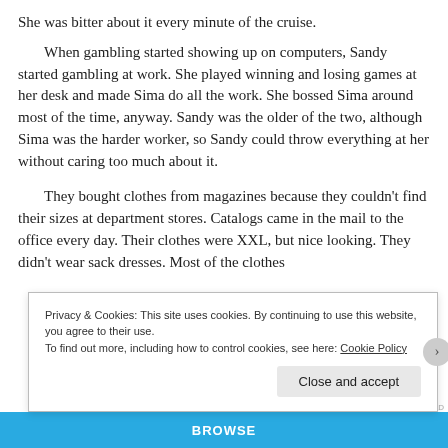She was bitter about it every minute of the cruise.
When gambling started showing up on computers, Sandy started gambling at work. She played winning and losing games at her desk and made Sima do all the work. She bossed Sima around most of the time, anyway. Sandy was the older of the two, although Sima was the harder worker, so Sandy could throw everything at her without caring too much about it.
They bought clothes from magazines because they couldn't find their sizes at department stores. Catalogs came in the mail to the office every day. Their clothes were XXL, but nice looking. They didn't wear sack dresses. Most of the clothes
Privacy & Cookies: This site uses cookies. By continuing to use this website, you agree to their use.
To find out more, including how to control cookies, see here: Cookie Policy
Close and accept